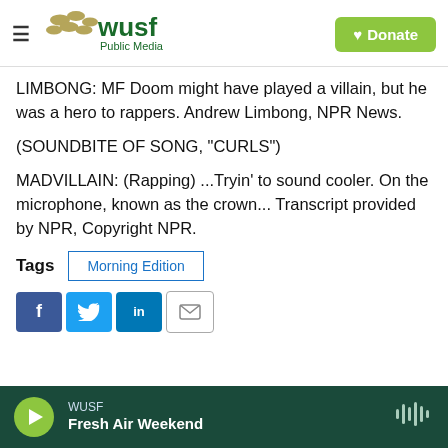WUSF Public Media — Donate
LIMBONG: MF Doom might have played a villain, but he was a hero to rappers. Andrew Limbong, NPR News.
(SOUNDBITE OF SONG, "CURLS")
MADVILLAIN: (Rapping) ...Tryin' to sound cooler. On the microphone, known as the crown... Transcript provided by NPR, Copyright NPR.
Tags  Morning Edition
[Figure (screenshot): Social sharing buttons: Facebook, Twitter, LinkedIn, Email]
WUSF  Fresh Air Weekend (audio player bar)